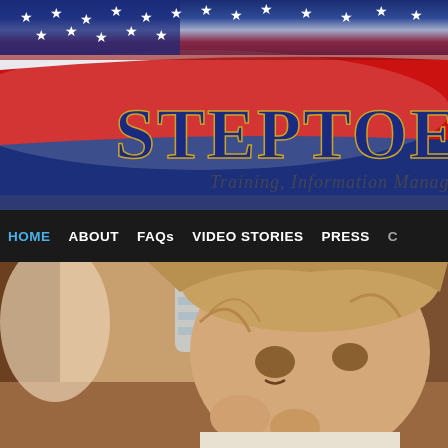[Figure (logo): Steptoe company logo with American flag background showing stars and stripes in red, white and blue. Large bold text 'STEPTOE C' in navy blue with gold outline, subtitle 'Training, Information Manage...']
[Figure (other): Navigation bar with dark/black background. Menu items: HOME (highlighted in blue), ABOUT, FAQs, VIDEO STORIES, PRESS, and more (partially visible)]
[Figure (photo): Sepia-toned photo of a young toddler/child crying or upset, with an adult partially visible in the background holding what appears to be a water bottle.]